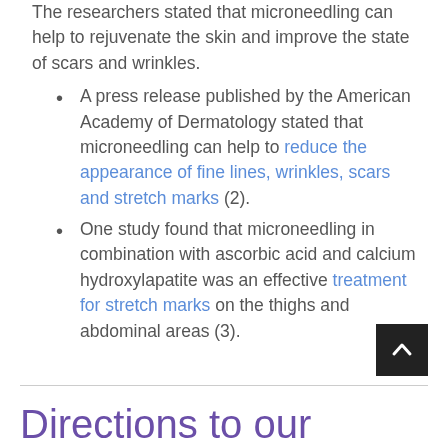The researchers stated that microneedling can help to rejuvenate the skin and improve the state of scars and wrinkles.
A press release published by the American Academy of Dermatology stated that microneedling can help to reduce the appearance of fine lines, wrinkles, scars and stretch marks (2).
One study found that microneedling in combination with ascorbic acid and calcium hydroxylapatite was an effective treatment for stretch marks on the thighs and abdominal areas (3).
Directions to our